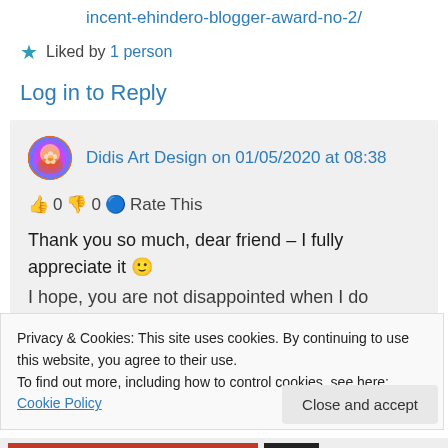incent-ehindero-blogger-award-no-2/
★ Liked by 1 person
Log in to Reply
Didis Art Design on 01/05/2020 at 08:38
👍 0 👎 0 ℹ Rate This
Thank you so much, dear friend – I fully appreciate it 🙂
I hope, you are not disappointed when I do
Privacy & Cookies: This site uses cookies. By continuing to use this website, you agree to their use.
To find out more, including how to control cookies, see here: Cookie Policy
Close and accept